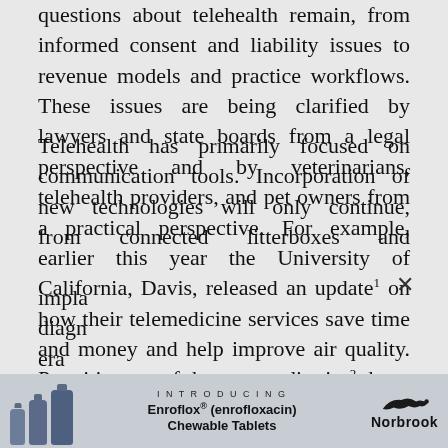interpreting new technologies. Many open questions about telehealth remain, from informed consent and liability issues to revenue models and practice workflows. These issues are being clarified by lawyers and state boards from a legal perspective and by veterinarians, telehealth providers, and pet owners from a practical perspective. For example, earlier this year the University of California, Davis, released an update¹ on how their telemedicine services save time and money and help improve air quality. Practitioners of human pediatrics² have addressed patients’ inability to speak, and we would be wise to learn from their experience.
Telehealth has primarily focused on communication tools. Incorporation of new technologies will only continue, from connected litterboxes and implantable diagnostic era
[Figure (infographic): Advertisement banner for Enroflox (enrofloxacin) Chewable Tablets by Norbrook, showing medicine bottles on the left, product text in the center reading INTRODUCING Enroflox (enrofloxacin) Chewable Tablets, and the Norbrook logo with a running animal on the right.]